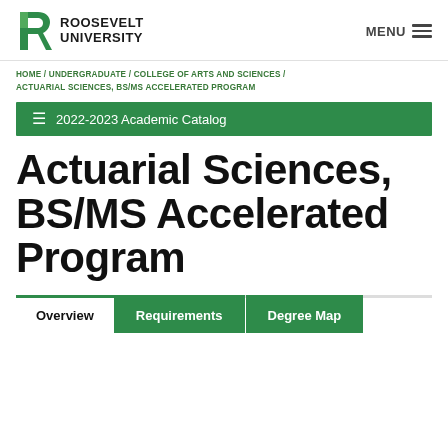ROOSEVELT UNIVERSITY — MENU
HOME / UNDERGRADUATE / COLLEGE OF ARTS AND SCIENCES / ACTUARIAL SCIENCES, BS/MS ACCELERATED PROGRAM
2022-2023 Academic Catalog
Actuarial Sciences, BS/MS Accelerated Program
Overview | Requirements | Degree Map